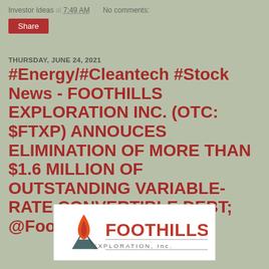Investor Ideas at 7:49 AM   No comments:
Share
THURSDAY, JUNE 24, 2021
#Energy/#Cleantech #Stock News - FOOTHILLS EXPLORATION INC. (OTC: $FTXP) ANNOUCES ELIMINATION OF MORE THAN $1.6 MILLION OF OUTSTANDING VARIABLE-RATE CONVERTIBLE DEBT; @Foothills_FTXP
[Figure (logo): Foothills Exploration Inc. logo — orange/red flame and mountain graphic on the left, with 'FOOTHILLS' in red bold text and 'EXPLORATION, Inc.' in gray below, all on white background]